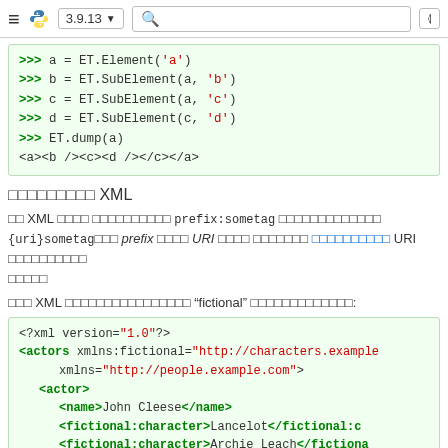3.9.13 [navigation bar with Python logo, version selector, search, grid icon]
[Figure (screenshot): Python interactive shell code block showing ET.Element and SubElement usage with output <a><b /><c><d /></c></a>]
□□□□□□□□□ XML
□□ XML □□□□ □□□□□□□□□□□□ prefix:sometag □□□□□□□□□□□□□ {uri}sometag□□□ prefix □□□□ URI □□□□ □□□□□□□ □□□□□□□□□□ URI □□□□□□□□□□ □□□□□
□□□ XML □□□□□□□□□□□□□□□□□ "fictional" □□□□□□□□□□□□□:
[Figure (screenshot): XML code block showing <?xml version="1.0"?> with actors element having xmlns:fictional and xmlns attributes, actor child with name John Cleese, fictional:character Lancelot, fictional:character Archie Leach, </actor> closing tag]